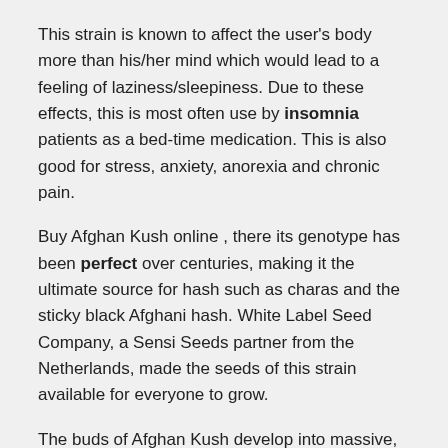This strain is known to affect the user's body more than his/her mind which would lead to a feeling of laziness/sleepiness. Due to these effects, this is most often use by insomnia patients as a bed-time medication. This is also good for stress, anxiety, anorexia and chronic pain.
Buy Afghan Kush online , there its genotype has been perfect over centuries, making it the ultimate source for hash such as charas and the sticky black Afghani hash. White Label Seed Company, a Sensi Seeds partner from the Netherlands, made the seeds of this strain available for everyone to grow.
The buds of Afghan Kush develop into massive, blunt-topped nuggets full of resin; pure indica goodness with a heavy yield. Revered for its heavy resin content and powerfully sedating effects, Afghan Kush is a top choice for anyone looking to relax after a long day.